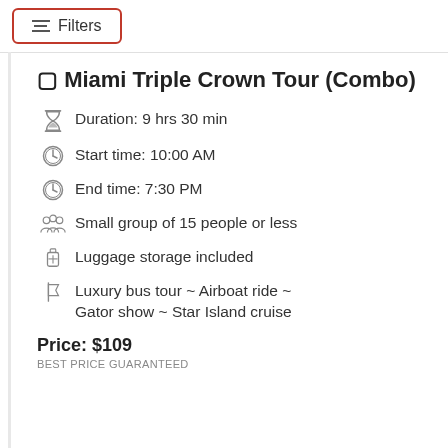Filters
🏆 Miami Triple Crown Tour (Combo)
Duration: 9 hrs 30 min
Start time: 10:00 AM
End time: 7:30 PM
Small group of 15 people or less
Luggage storage included
Luxury bus tour ~ Airboat ride ~ Gator show ~ Star Island cruise
Price: $109
BEST PRICE GUARANTEED